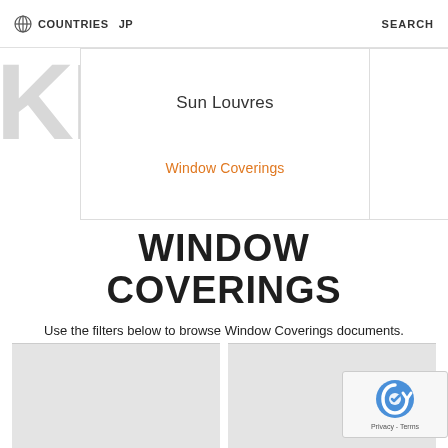COUNTRIES  JP  SEARCH
Sun Louvres
Window Coverings
WINDOW COVERINGS
Use the filters below to browse Window Coverings documents.